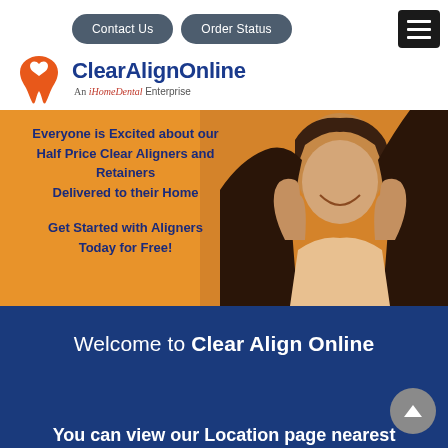Contact Us | Order Status
[Figure (logo): ClearAlignOnline logo with tooth icon and tagline 'An iHomeDental Enterprise']
[Figure (photo): Excited young woman with dark hair against orange background]
Everyone is Excited about our Half Price Clear Aligners and Retainers Delivered to their Home

Get Started with Aligners Today for Free!
Welcome to Clear Align Online
You can view our Location page nearest